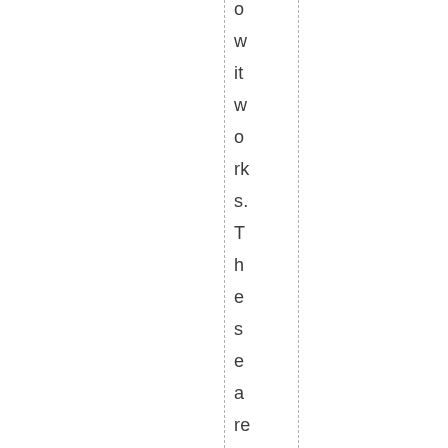o w it w o rk s. T h e s e a re cr y st al